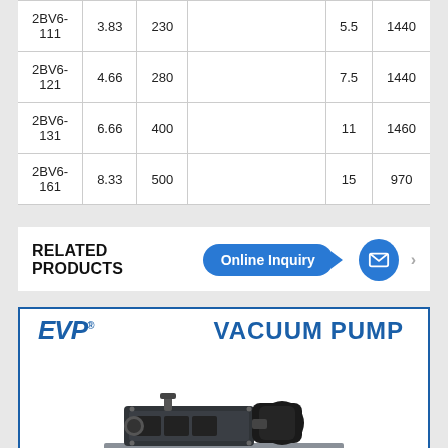| Model | Flow (m³/min) | Flow (m³/h) | (truncated) | Power (kW) | Speed (rpm) |
| --- | --- | --- | --- | --- | --- |
| 2BV6-111 | 3.83 | 230 |  | 5.5 | 1440+ |
| 2BV6-121 | 4.66 | 280 |  | 7.5 | 1440+ |
| 2BV6-131 | 6.66 | 400 |  | 11 | 1460+ |
| 2BV6-161 | 8.33 | 500 |  | 15 | 970+ |
RELATED PRODUCTS
[Figure (photo): EVP Vacuum Pump product image showing a black industrial vacuum pump unit with motor on a metal base, with EVP logo and VACUUM PUMP text in blue]